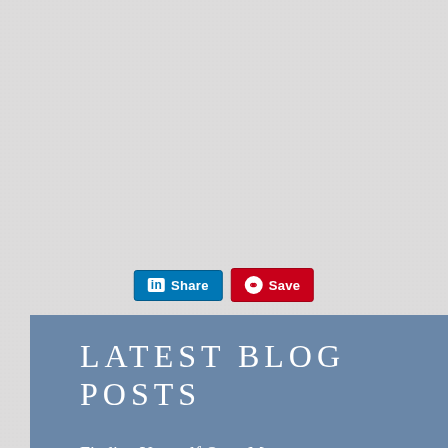[Figure (screenshot): LinkedIn Share button and Pinterest Save button side by side]
LATEST BLOG POSTS
Finding Yourself Once More
Adapting and Getting Creative
When Life Offers You Purpose
The Power of Love
Music to Our Ears